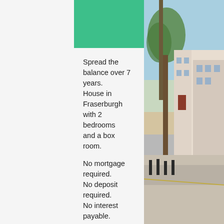[Figure (photo): Street scene with trees and townhouses, outdoor urban setting]
Spread the balance over 7 years. House in Fraserburgh with 2 bedrooms and a box room.
No mortgage required.
No deposit required.
No interest payable.
Freehold house priced at £95,000 and payable over 7 years at £37 per day / £1,130 per month. Similar sized 2 bedroom properties rent out short term in Aberdeenshire for up to £2,300 per month.
The property could be perfect for renting to business people or contractors on short